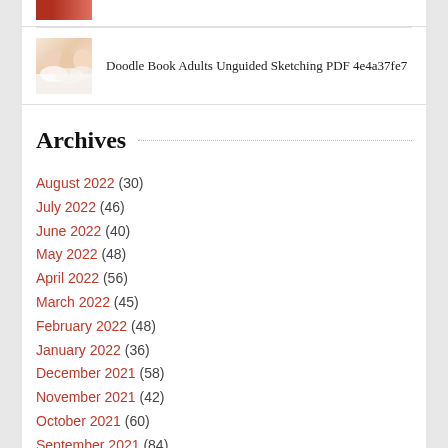[Figure (photo): Partial thumbnail of a person, top portion only visible, red/orange tones]
[Figure (photo): Thumbnail photo of group of smiling young women]
Doodle Book Adults Unguided Sketching PDF 4e4a37fe7
Archives
August 2022 (30)
July 2022 (46)
June 2022 (40)
May 2022 (48)
April 2022 (56)
March 2022 (45)
February 2022 (48)
January 2022 (36)
December 2021 (58)
November 2021 (42)
October 2021 (60)
September 2021 (84)